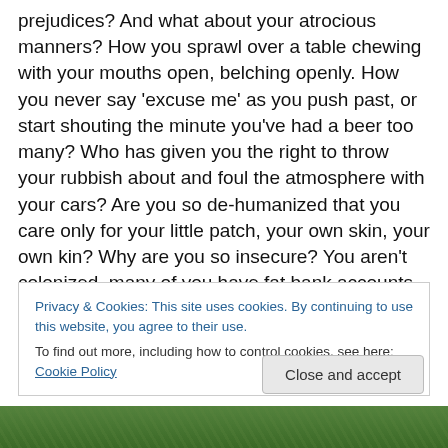prejudices? And what about your atrocious manners? How you sprawl over a table chewing with your mouths open, belching openly. How you never say 'excuse me' as you push past, or start shouting the minute you've had a beer too many? Who has given you the right to throw your rubbish about and foul the atmosphere with your cars? Are you so de-humanized that you care only for your little patch, your own skin, your own kin? Why are you so insecure? You aren't colonized, many of you have fat bank accounts, you eat in expensive restaurants and drive expensive cars. So why is it such an effort to try and respect the world you inhabit as well as your follow human
Privacy & Cookies: This site uses cookies. By continuing to use this website, you agree to their use.
To find out more, including how to control cookies, see here: Cookie Policy
Close and accept
[Figure (photo): A strip of green foliage/ferns visible at the bottom of the page, partially obscured by the cookie banner.]